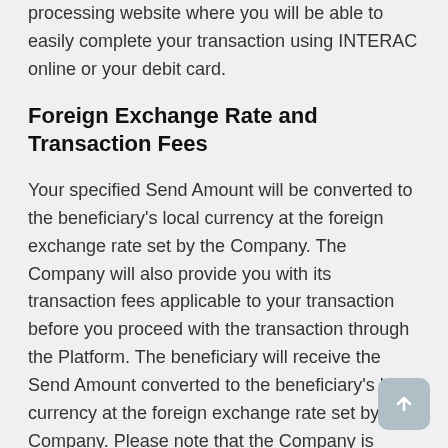processing website where you will be able to easily complete your transaction using INTERAC online or your debit card.
Foreign Exchange Rate and Transaction Fees
Your specified Send Amount will be converted to the beneficiary's local currency at the foreign exchange rate set by the Company. The Company will also provide you with its transaction fees applicable to your transaction before you proceed with the transaction through the Platform. The beneficiary will receive the Send Amount converted to the beneficiary's local currency at the foreign exchange rate set by the Company. Please note that the Company is entitled to retain the difference between the foreign exchange rate it receives and